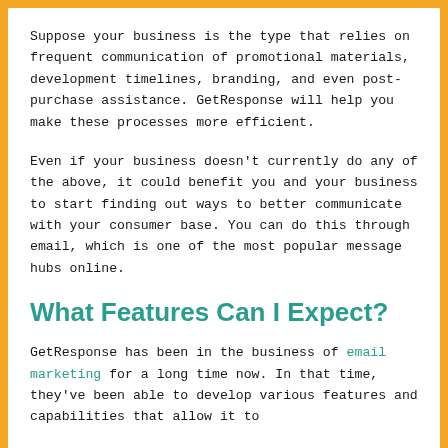Suppose your business is the type that relies on frequent communication of promotional materials, development timelines, branding, and even post-purchase assistance. GetResponse will help you make these processes more efficient.
Even if your business doesn't currently do any of the above, it could benefit you and your business to start finding out ways to better communicate with your consumer base. You can do this through email, which is one of the most popular message hubs online.
What Features Can I Expect?
GetResponse has been in the business of email marketing for a long time now. In that time, they've been able to develop various features and capabilities that allow it to